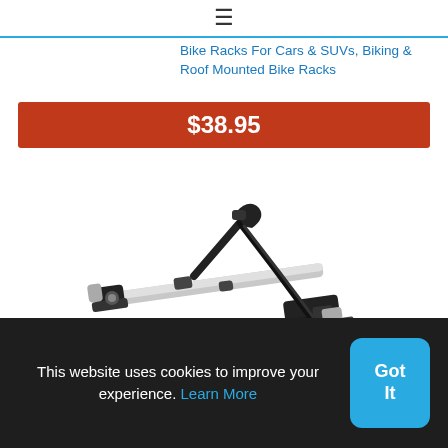≡
Bike Racks For Cars & SUVs, Biking & Roof Mounted Bike Racks
$38.95
[Figure (photo): A silver and black roof-mounted bike rack (Thule-style), shown at an angle on a white background. The rack features an aluminum rail, black fork clamps, straps, and mounting hardware.]
This website uses cookies to improve your experience. Learn More
Got It